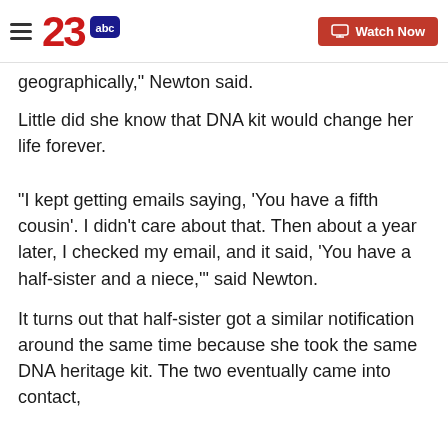23abc — Watch Now
geographically," Newton said.
Little did she know that DNA kit would change her life forever.
"I kept getting emails saying, 'You have a fifth cousin'. I didn't care about that. Then about a year later, I checked my email, and it said, 'You have a half-sister and a niece,'" said Newton.
It turns out that half-sister got a similar notification around the same time because she took the same DNA heritage kit. The two eventually came into contact,